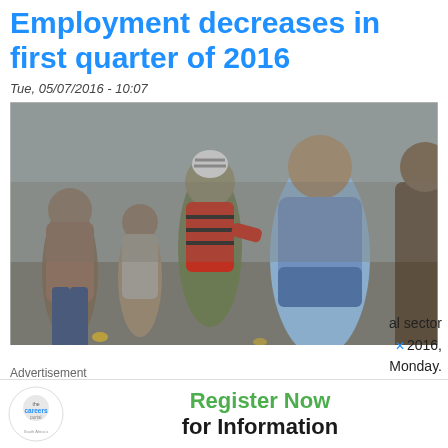Employment decreases in first quarter of 2016
Tue, 05/07/2016 - 10:07
[Figure (photo): A large crowd of people standing in a queue on a street, photographed outdoors in winter clothing.]
Advertisement
al sector 2016, Monday.
[Figure (logo): Careersportal logo — circular badge with text 'the careersportal']
Register Now for Information